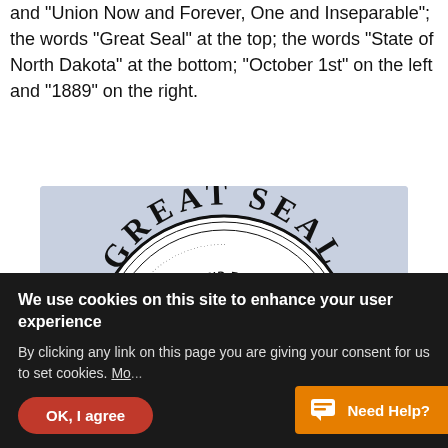and 'Union Now and Forever, One and Inseparable'; the words "Great Seal" at the top; the words "State of North Dakota" at the bottom; "October 1st" on the left and "1889" on the right.
[Figure (illustration): Partial view of the Great Seal of North Dakota on a blue-grey background, showing 'GREAT SEAL' at the top, 'UNION NOW AND FOREVER ONE AND' in a circle with stars, trees visible in the center, 'BER 1st' on the left and '1889' on the right.]
We use cookies on this site to enhance your user experience
By clicking any link on this page you are giving your consent for us to set cookies. Mo...
OK, I agree
Need Help?